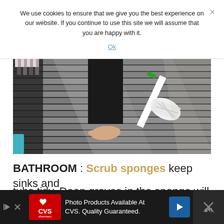We use cookies to ensure that we give you the best experience on our website. If you continue to use this site we will assume that you are happy with it.
Ok
[Figure (photo): Outdoor deck scene showing a person's bare foot standing on dark wooden deck boards, with a white and green cleaning tool/broom lying on the deck. Part of a wicker chair with striped cushion is visible on the left, and a teal/blue object is visible at the bottom left.]
BATHROOM : Scrub sponges keep sinks and tubs tidy. Deep groves in the sponge will remove...
[Figure (screenshot): Advertisement banner for CVS Pharmacy: 'Photo Products Available At CVS. Quality Guaranteed.' with CVS Pharmacy logo on red background and a blue navigation arrow icon.]